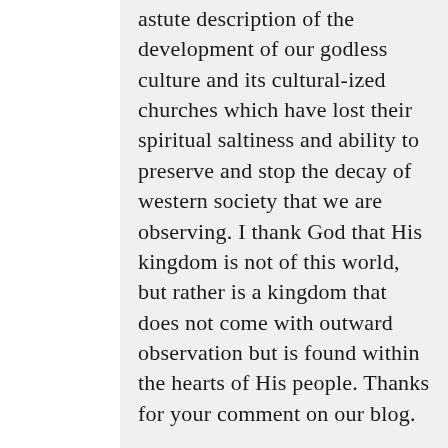astute description of the development of our godless culture and its cultural-ized churches which have lost their spiritual saltiness and ability to preserve and stop the decay of western society that we are observing. I thank God that His kingdom is not of this world, but rather is a kingdom that does not come with outward observation but is found within the hearts of His people. Thanks for your comment on our blog.